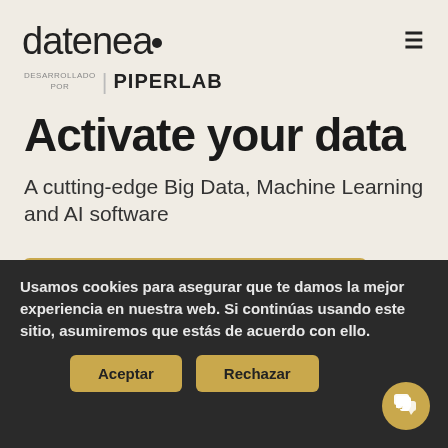datenea
[Figure (logo): DESARROLLADO POR | PIPERLAB logo badge]
Activate your data
A cutting-edge Big Data, Machine Learning and AI software
[Figure (other): Request a demo button with gold background and arrow]
Usamos cookies para asegurar que te damos la mejor experiencia en nuestra web. Si continúas usando este sitio, asumiremos que estás de acuerdo con ello.
Aceptar | Rechazar